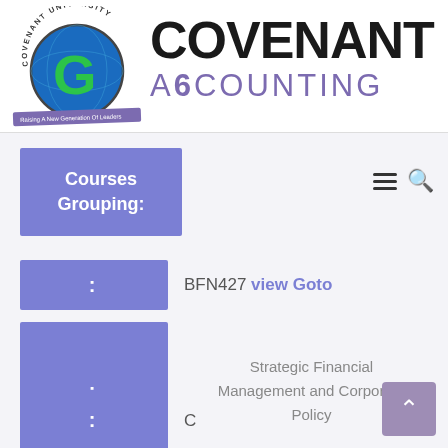[Figure (logo): Covenant University logo — globe with green G, arc text 'COVENANT UNIVERSITY', ribbon 'Raising A New Generation Of Leaders']
COVENANT ACCOUNTING
Courses Grouping:
BFN427 view Goto
Strategic Financial Management and Corporate Policy
C